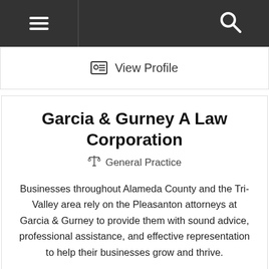[Figure (screenshot): Navigation bar with hamburger menu icon on the left and search icon on the right, dark gray background]
View Profile
Garcia & Gurney A Law Corporation
⚖ General Practice
Businesses throughout Alameda County and the Tri-Valley area rely on the Pleasanton attorneys at Garcia & Gurney to provide them with sound advice, professional assistance, and effective representation to help their businesses grow and thrive.
6160 Stoneridge Mall Road Suite 210 Pleasanton, CA 94588